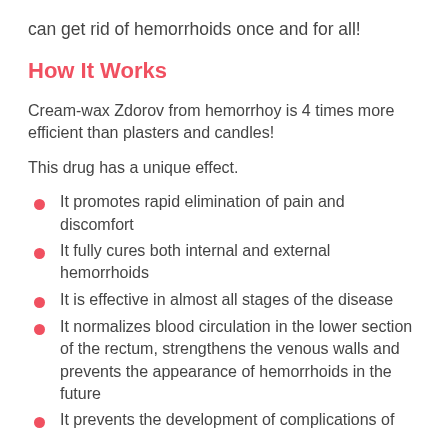can get rid of hemorrhoids once and for all!
How It Works
Cream-wax Zdorov from hemorrhoy is 4 times more efficient than plasters and candles!
This drug has a unique effect.
It promotes rapid elimination of pain and discomfort
It fully cures both internal and external hemorrhoids
It is effective in almost all stages of the disease
It normalizes blood circulation in the lower section of the rectum, strengthens the venous walls and prevents the appearance of hemorrhoids in the future
It prevents the development of complications of